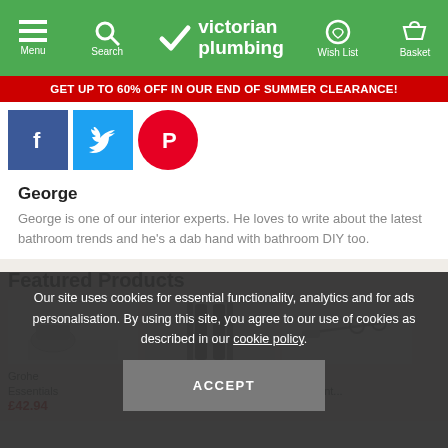Victorian Plumbing — Menu, Search, Wish List, Basket navigation
GET UP TO 60% OFF IN OUR END OF SUMMER CLEARANCE!
[Figure (other): Three social media share buttons: Facebook (blue), Twitter (light blue), Pinterest (red circle)]
George
George is one of our interior experts. He loves to write about the latest bathroom trends and he's a dab hand with bathroom DIY too.
Featured Products
[Figure (photo): Three product images side by side: Grohe Essentials, Diamond Heated (towel rail), and a bathroom implement]
Grohe Essentials £42.94
Diamond Heated £139.95
£77.99
Our site uses cookies for essential functionality, analytics and for ads personalisation. By using this site, you agree to our use of cookies as described in our cookie policy.
ACCEPT